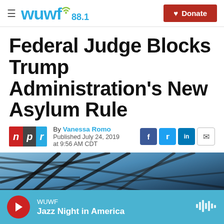WUWF 88.1 — Donate
Federal Judge Blocks Trump Administration's New Asylum Rule
By Vanessa Romo
Published July 24, 2019 at 9:56 AM CDT
[Figure (photo): Dark architectural photo showing criss-crossed metal beams or fencing against a blue sky]
WUWF
Jazz Night in America